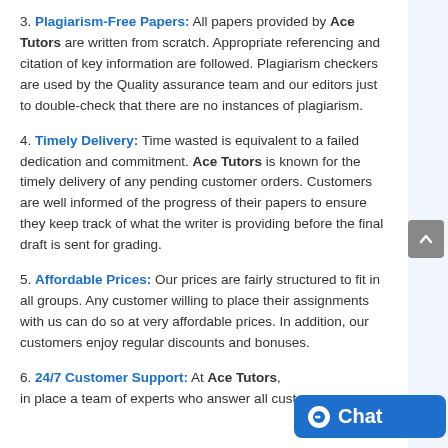3. Plagiarism-Free Papers: All papers provided by Ace Tutors are written from scratch. Appropriate referencing and citation of key information are followed. Plagiarism checkers are used by the Quality assurance team and our editors just to double-check that there are no instances of plagiarism.
4. Timely Delivery: Time wasted is equivalent to a failed dedication and commitment. Ace Tutors is known for the timely delivery of any pending customer orders. Customers are well informed of the progress of their papers to ensure they keep track of what the writer is providing before the final draft is sent for grading.
5. Affordable Prices: Our prices are fairly structured to fit in all groups. Any customer willing to place their assignments with us can do so at very affordable prices. In addition, our customers enjoy regular discounts and bonuses.
6. 24/7 Customer Support: At Ace Tutors, we have in place a team of experts who answer all customer